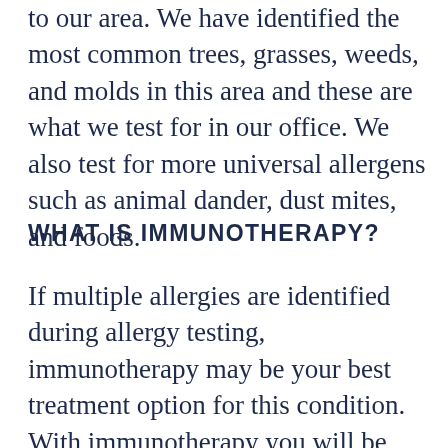to our area. We have identified the most common trees, grasses, weeds, and molds in this area and these are what we test for in our office. We also test for more universal allergens such as animal dander, dust mites, and foods.
WHAT IS IMMUNOTHERAPY?
If multiple allergies are identified during allergy testing, immunotherapy may be your best treatment option for this condition. With immunotherapy you will be given scheduled injections. These injections are made up of very small amounts of the allergens you were found to be allergic to. Each patient's treatment vial is individually formulated and mixed in